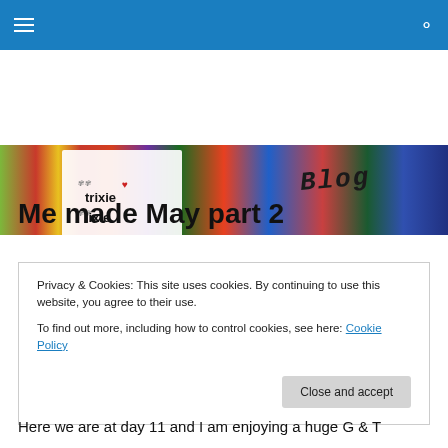Navigation bar with hamburger menu and search icon
[Figure (illustration): Trixie Lixie blog banner with colorful fabric strip background and logo]
Me made May part 2
Privacy & Cookies: This site uses cookies. By continuing to use this website, you agree to their use.
To find out more, including how to control cookies, see here: Cookie Policy
[Close and accept button]
Here we are at day 11 and I am enjoying a huge G & T